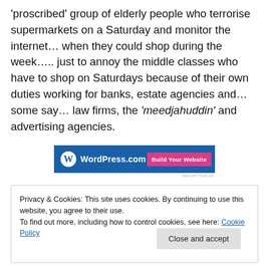'proscribed' group of elderly people who terrorise supermarkets on a Saturday and monitor the internet… when they could shop during the week….. just to annoy the middle classes who have to shop on Saturdays because of their own duties working for banks, estate agencies and…some say… law firms, the 'meedjahuddin' and advertising agencies.
[Figure (other): WordPress.com advertisement banner with logo and 'Build Your Website' button]
Privacy & Cookies: This site uses cookies. By continuing to use this website, you agree to their use.
To find out more, including how to control cookies, see here: Cookie Policy
Close and accept